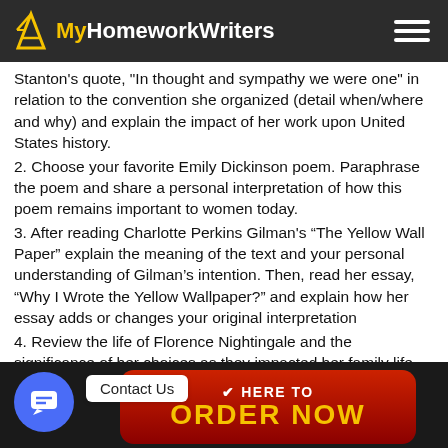MyHomeworkWriters
Stanton's quote, "In thought and sympathy we were one" in relation to the convention she organized (detail when/where and why) and explain the impact of her work upon United States history.
2. Choose your favorite Emily Dickinson poem. Paraphrase the poem and share a personal interpretation of how this poem remains important to women today.
3. After reading Charlotte Perkins Gilman's “The Yellow Wall Paper” explain the meaning of the text and your personal understanding of Gilman’s intention. Then, read her essay, “Why I Wrote the Yellow Wallpaper?” and explain how her essay adds or changes your original interpretation
4. Review the life of Florence Nightingale and the significance of her choices as they impacted her family life and society.
[Figure (screenshot): Contact Us button and Order Now red button with yellow text at the bottom of the page]